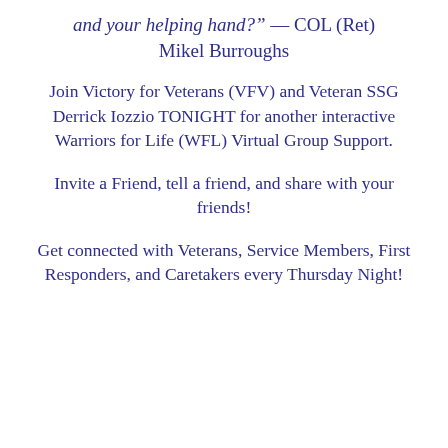and your helping hand?" — COL (Ret) Mikel Burroughs
Join Victory for Veterans (VFV) and Veteran SSG Derrick Iozzio TONIGHT for another interactive Warriors for Life (WFL) Virtual Group Support.
Invite a Friend, tell a friend, and share with your friends!
Get connected with Veterans, Service Members, First Responders, and Caretakers every Thursday Night!